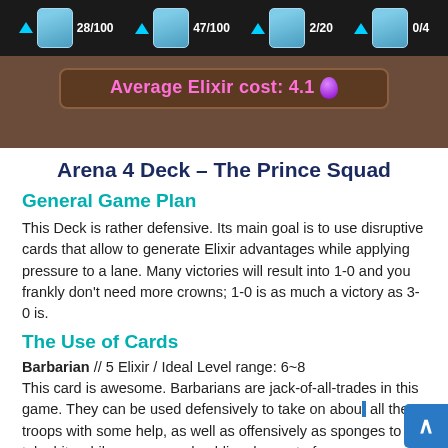[Figure (screenshot): Game UI screenshot showing card slots with counts 28/100, 47/100, 2/20, 0/4 and Average Elixir cost: 4.1 with purple elixir drop icon]
Arena 4 Deck – The Prince Squad
General Game Plan
This Deck is rather defensive. Its main goal is to use disruptive cards that allow to generate Elixir advantages while applying pressure to a lane. Many victories will result into 1-0 and you frankly don't need more crowns; 1-0 is as much a victory as 3-0 is.
The Use of Cards
Barbarian // 5 Elixir / Ideal Level range: 6~8
This card is awesome. Barbarians are jack-of-all-trades in this game. They can be used defensively to take on about all the troops with some help, as well as offensively as sponges to take hits while your ranged goblins do most of